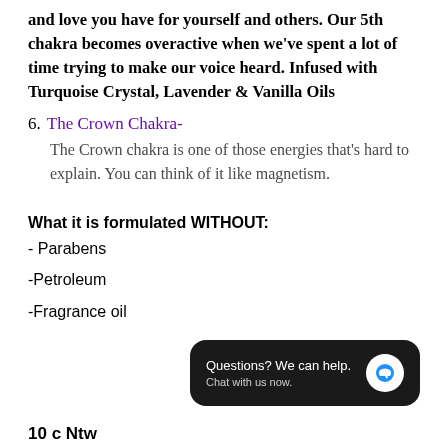and love you have for yourself and others. Our 5th chakra becomes overactive when we've spent a lot of time trying to make our voice heard. Infused with Turquoise Crystal, Lavender & Vanilla Oils
6. The Crown Chakra-
The Crown chakra is one of those energies that's hard to explain. You can think of it like magnetism.
What it is formulated WITHOUT:
- Parabens
-Petroleum
-Fragrance oil
[Figure (screenshot): Chat widget overlay with dark background: 'Questions? We can help. Chat with us now.' with blue chat bubble icon]
10 c Ntw